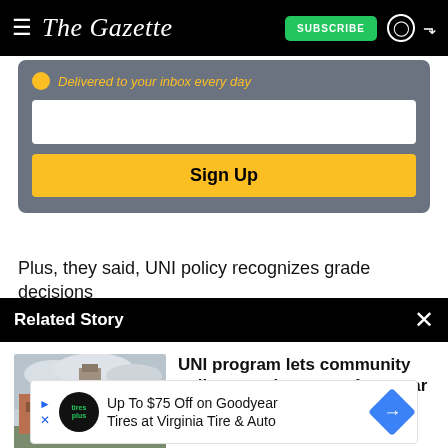The Gazette — SUBSCRIBE
[Figure (screenshot): Newsletter signup box with email input field and yellow Sign Up button on gray background, with partial promo text 'Delivered to your inbox every day']
Sign Up
Plus, they said, UNI policy recognizes grade decisions
Related Story
[Figure (photo): Exterior photo of a UNI campus building with a tall brick tower/monument structure in front]
UNI program lets community college grads pursue four-year degrees online
[Figure (screenshot): Advertisement banner: Up To $75 Off on Goodyear Tires at Virginia Tire & Auto, with Tires Plus logo and blue arrow icon]